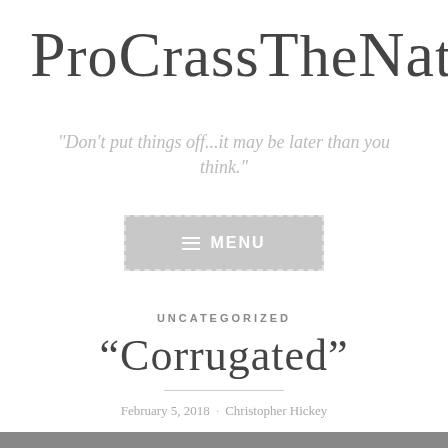ProCrasstheNat
"Don't put things off...it may be later than you think."
[Figure (other): Menu navigation button with hamburger icon and MENU label, grey background with dashed border]
UNCATEGORIZED
“Corrugated”
February 5, 2018 · Christopher Hickey